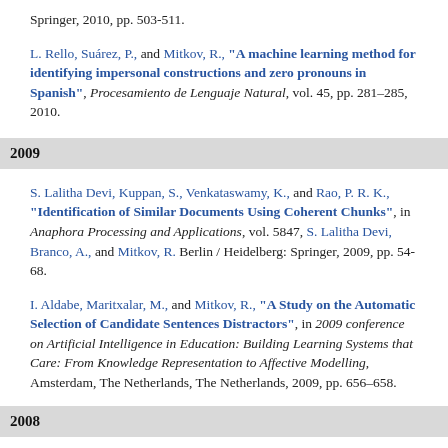Springer, 2010, pp. 503-511.
L. Rello, Suárez, P., and Mitkov, R., "A machine learning method for identifying impersonal constructions and zero pronouns in Spanish", Procesamiento de Lenguaje Natural, vol. 45, pp. 281–285, 2010.
2009
S. Lalitha Devi, Kuppan, S., Venkataswamy, K., and Rao, P. R. K., "Identification of Similar Documents Using Coherent Chunks", in Anaphora Processing and Applications, vol. 5847, S. Lalitha Devi, Branco, A., and Mitkov, R. Berlin / Heidelberg: Springer, 2009, pp. 54-68.
I. Aldabe, Maritxalar, M., and Mitkov, R., "A Study on the Automatic Selection of Candidate Sentences Distractors", in 2009 conference on Artificial Intelligence in Education: Building Learning Systems that Care: From Knowledge Representation to Affective Modelling, Amsterdam, The Netherlands, The Netherlands, 2009, pp. 656–658.
2008